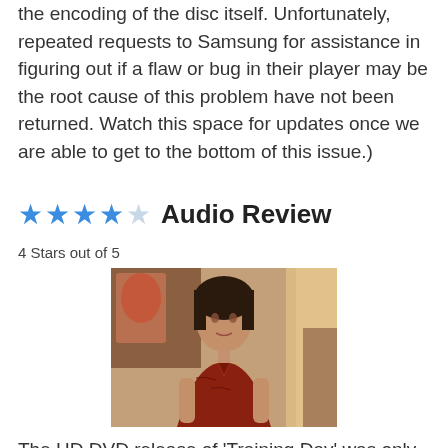the encoding of the disc itself. Unfortunately, repeated requests to Samsung for assistance in figuring out if a flaw or bug in their player may be the root cause of this problem have not been returned. Watch this space for updates once we are able to get to the bottom of this issue.)
★★★★☆ Audio Review
4 Stars out of 5
[Figure (photo): A woman in a red patterned dress looking at the camera, indoor scene with warm lighting]
The HD DVD release of 'Training Day' was only the